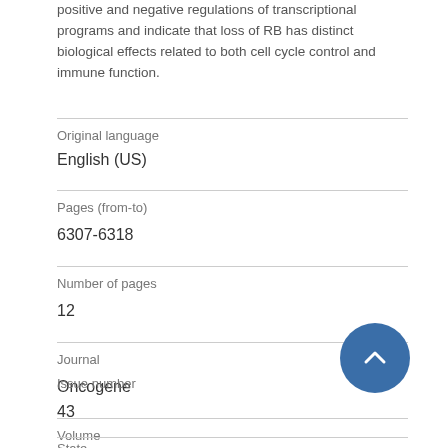positive and negative regulations of transcriptional programs and indicate that loss of RB has distinct biological effects related to both cell cycle control and immune function.
| Original language | English (US) |
| Pages (from-to) | 6307-6318 |
| Number of pages | 12 |
| Journal | Oncogene |
| Volume | 26 |
| Issue number | 43 |
| State |  |